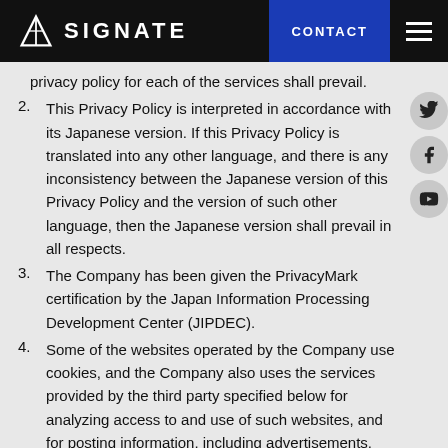SIGNATE | CONTACT
privacy policy for each of the services shall prevail.
2. This Privacy Policy is interpreted in accordance with its Japanese version. If this Privacy Policy is translated into any other language, and there is any inconsistency between the Japanese version of this Privacy Policy and the version of such other language, then the Japanese version shall prevail in all respects.
3. The Company has been given the PrivacyMark certification by the Japan Information Processing Development Center (JIPDEC).
4. Some of the websites operated by the Company use cookies, and the Company also uses the services provided by the third party specified below for analyzing access to and use of such websites, and for posting information, including advertisements, suitable for you. If you want, you may cease or disable the functions related to cookies in your browser, but as a result of such